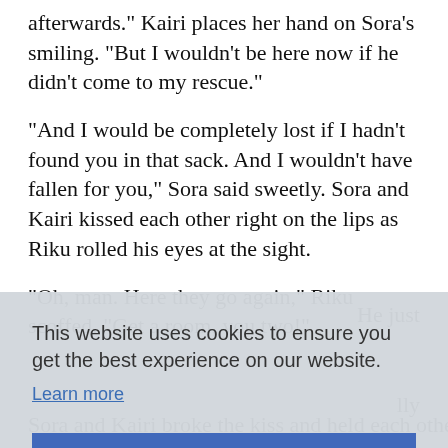afterwards." Kairi places her hand on Sora's smiling. "But I wouldn't be here now if he didn't come to my rescue."
"And I would be completely lost if I hadn't found you in that sack. And I wouldn't have fallen for you," Sora said sweetly. Sora and Kairi kissed each other right on the lips as Riku rolled his eyes at the sight.
"Oh, man. Here they go again," Riku scoffed. "Get a room, you two!"
He just
lly
t said.
Sora and Kairi broke the kiss and held each other s
[Figure (screenshot): Cookie consent banner overlay. Gray background with text: 'This website uses cookies to ensure you get the best experience on our website.' followed by a 'Learn more' link and a blue 'Got it!' button.]